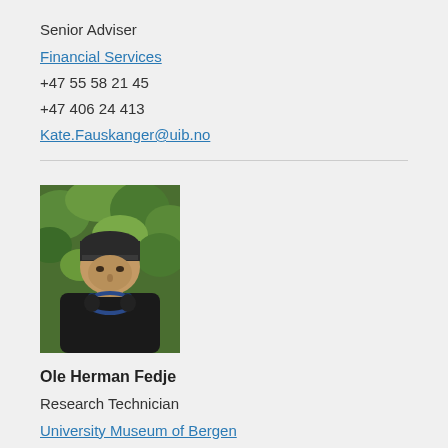Senior Adviser
Financial Services
+47 55 58 21 45
+47 406 24 413
Kate.Fauskanger@uib.no
[Figure (photo): Portrait photo of Ole Herman Fedje, a man wearing a dark beanie and headphones around his neck, standing outdoors with green foliage in background.]
Ole Herman Fedje
Research Technician
University Museum of Bergen
+47 416 49 301